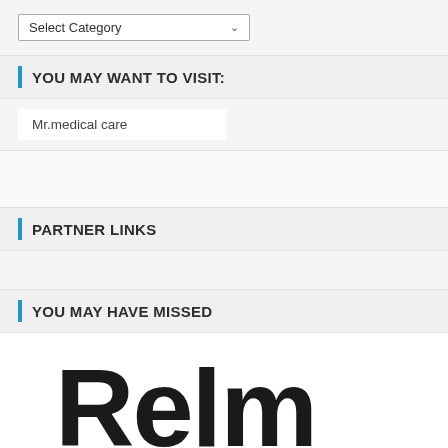[Figure (screenshot): Dropdown select box labeled 'Select Category' with a down arrow]
YOU MAY WANT TO VISIT:
Mr.medical care
PARTNER LINKS
YOU MAY HAVE MISSED
[Figure (photo): Large bold text reading 'Relm' partially cropped, with a blue scroll-to-top button with a caret/arrow icon in the lower right]